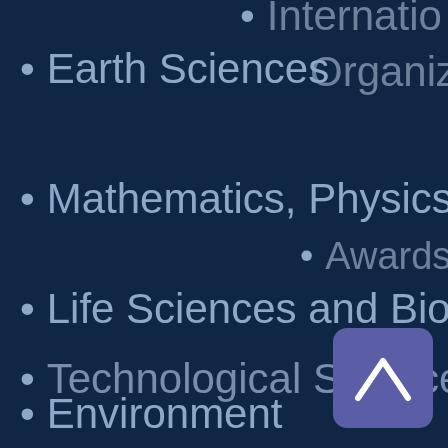International Organiza…
Earth Sciences
Awards
Mathematics, Physics an…
Life Sciences and Biotech…
Technological Sciences
Environment